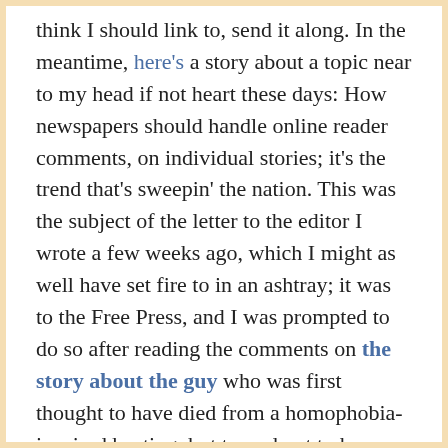think I should link to, send it along. In the meantime, here's a story about a topic near to my head if not heart these days: How newspapers should handle online reader comments, on individual stories; it's the trend that's sweepin' the nation. This was the subject of the letter to the editor I wrote a few weeks ago, which I might as well have set fire to in an ashtray; it was to the Free Press, and I was prompted to do so after reading the comments on the story about the guy who was first thought to have died from a homophobia-inspired beating, but turned out to have spinal stenosis, instead. (It's complicated, but it's not really important